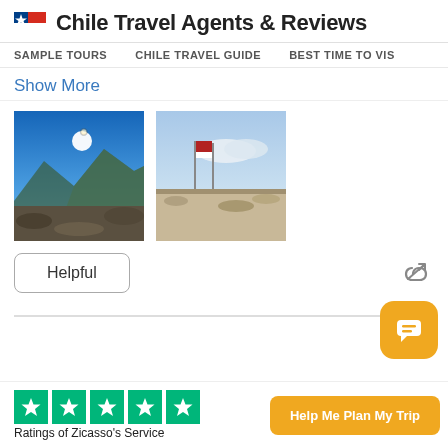Chile Travel Agents & Reviews
SAMPLE TOURS   CHILE TRAVEL GUIDE   BEST TIME TO VISIT
Show More
[Figure (photo): Photo of mountain landscape in Chile with bright sun and blue sky]
[Figure (photo): Photo of Chilean flag in an arid desert landscape]
Helpful
Ratings of Zicasso's Service
Help Me Plan My Trip